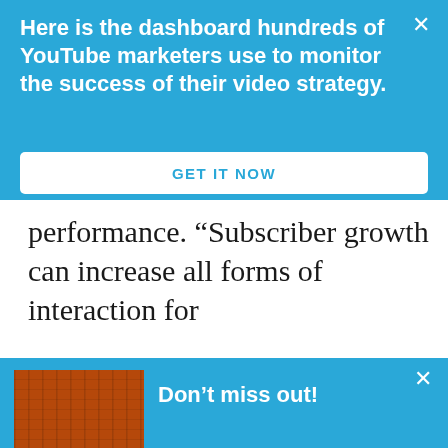Here is the dashboard hundreds of YouTube marketers use to monitor the success of their video strategy.
GET IT NOW
performance. “Subscriber growth can increase all forms of interaction for
Don’t miss out!
Hundreds of marketers have used this free dashboard template to improve their YouTube marketing strategy.
GET FREE DASHBOARD